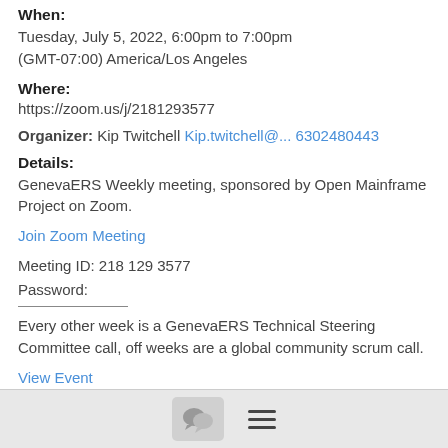When:
Tuesday, July 5, 2022, 6:00pm to 7:00pm
(GMT-07:00) America/Los Angeles
Where:
https://zoom.us/j/2181293577
Organizer: Kip Twitchell Kip.twitchell@... 6302480443
Details:
GenevaERS Weekly meeting, sponsored by Open Mainframe Project on Zoom.
Join Zoom Meeting
Meeting ID: 218 129 3577
Password:
Every other week is a GenevaERS Technical Steering Committee call, off weeks are a global community scrum call.
View Event
[Figure (other): Footer navigation bar with chat icon button and hamburger menu icon]